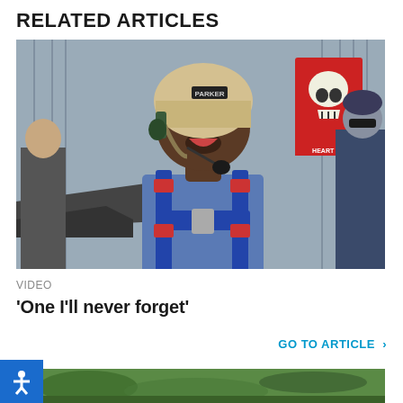RELATED ARTICLES
[Figure (photo): A person wearing a skydiving helmet with a microphone, headset, goggles, and a blue parachute harness with red accents, photographed inside a hangar with metal walls and various equipment visible in the background. Other people are partially visible on the sides.]
VIDEO
'One I'll never forget'
GO TO ARTICLE >
[Figure (photo): Aerial view of green landscape with fields and land from above, partially visible at the bottom of the page.]